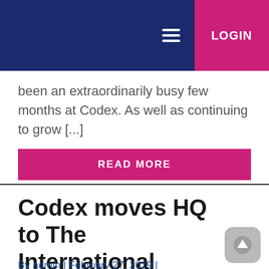LOGIN
been an extraordinarily busy few months at Codex. As well as continuing to grow [...]
READ MORE
Codex moves HQ to The International Quarter at Nine Elms, London
By admin | February 27, 2019 |